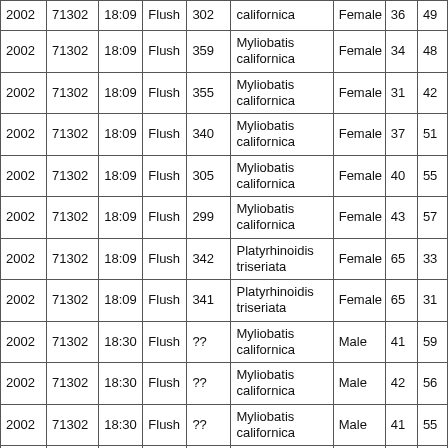| Year | Station | Time | Method | ID | Species | Sex | Col8 | Col9 |
| --- | --- | --- | --- | --- | --- | --- | --- | --- |
| 2002 | 71302 | 18:09 | Flush | 302 | Myliobatis californica | Female | 36 | 49 |
| 2002 | 71302 | 18:09 | Flush | 359 | Myliobatis californica | Female | 34 | 48 |
| 2002 | 71302 | 18:09 | Flush | 355 | Myliobatis californica | Female | 31 | 42 |
| 2002 | 71302 | 18:09 | Flush | 340 | Myliobatis californica | Female | 37 | 51 |
| 2002 | 71302 | 18:09 | Flush | 305 | Myliobatis californica | Female | 40 | 55 |
| 2002 | 71302 | 18:09 | Flush | 299 | Myliobatis californica | Female | 43 | 57 |
| 2002 | 71302 | 18:09 | Flush | 342 | Platyrhinoidis triseriata | Female | 65 | 33 |
| 2002 | 71302 | 18:09 | Flush | 341 | Platyrhinoidis triseriata | Female | 65 | 31 |
| 2002 | 71302 | 18:30 | Flush | ?? | Myliobatis californica | Male | 41 | 59 |
| 2002 | 71302 | 18:30 | Flush | ?? | Myliobatis californica | Male | 42 | 56 |
| 2002 | 71302 | 18:30 | Flush | ?? | Myliobatis californica | Male | 41 | 55 |
| 2002 | 71302 | 18:30 | Flush | ?? | Myliobatis californica | Male | 38 | 54 |
| 2002 | 71302 | 18:30 | Flush | ?? | Myliobatis californica | ... | ... | ... |